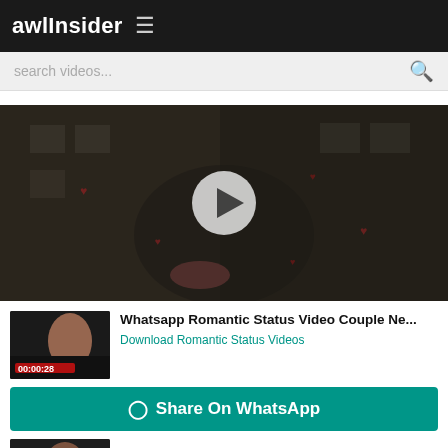awlInsider ≡
search videos...
[Figure (photo): Romantic couple on a scooter with a play button overlay, dark cinematic scene with heart decorations]
[Figure (photo): Video thumbnail showing a woman, duration 00:00:28]
Whatsapp Romantic Status Video Couple Ne...
Download Romantic Status Videos
⊙ Share On WhatsApp
Romantic status Whatsapp Status Video Cut...
[Figure (photo): Small thumbnail of second video item]